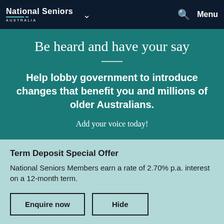National Seniors Australia — Navigation bar with search and menu
Be heard and have your say
Help lobby government to introduce changes that benefit you and millions of older Australians.
Add your voice today!
Term Deposit Special Offer
National Seniors Members earn a rate of 2.70% p.a. interest on a 12-month term.
Enquire now | Hide